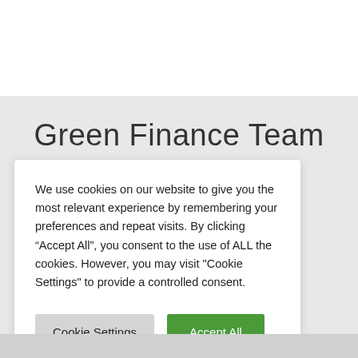Green Finance Team
ality advice, their business ity of our tanding
We use cookies on our website to give you the most relevant experience by remembering your preferences and repeat visits. By clicking “Accept All”, you consent to the use of ALL the cookies. However, you may visit "Cookie Settings" to provide a controlled consent.
Cookie Settings | Accept All